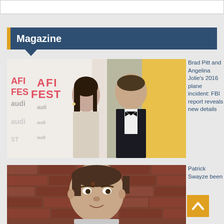Magazine
[Figure (photo): Brad Pitt and Angelina Jolie at AFI FEST event, posing together, Angelina in white strapless gown, Brad in black tuxedo with bow tie]
Brad Pitt and Angelina Jolie's 2016 plane incident: FBI report reveals new details
[Figure (photo): Patrick Swayze smiling against a brick wall background]
Patrick Swayze been